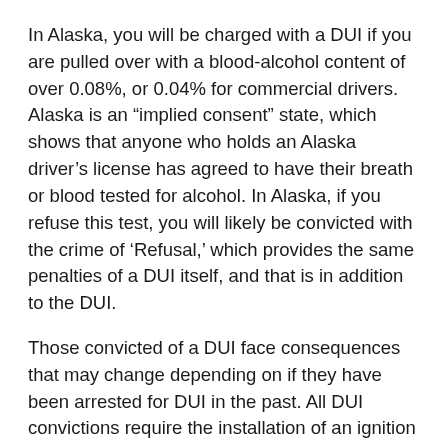In Alaska, you will be charged with a DUI if you are pulled over with a blood-alcohol content of over 0.08%, or 0.04% for commercial drivers. Alaska is an “implied consent” state, which shows that anyone who holds an Alaska driver’s license has agreed to have their breath or blood tested for alcohol. In Alaska, if you refuse this test, you will likely be convicted with the crime of ‘Refusal,’ which provides the same penalties of a DUI itself, and that is in addition to the DUI.
Those convicted of a DUI face consequences that may change depending on if they have been arrested for DUI in the past. All DUI convictions require the installation of an ignition interlock device (IID). These devices are fixed on a vehicle and need a breath sample before starting an engine.
DUI CONSEQUENCES IN